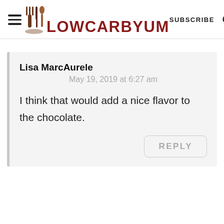LOW CARB YUM  SUBSCRIBE
Lisa MarcAurele
May 19, 2019 at 6:27 am
I think that would add a nice flavor to the chocolate.